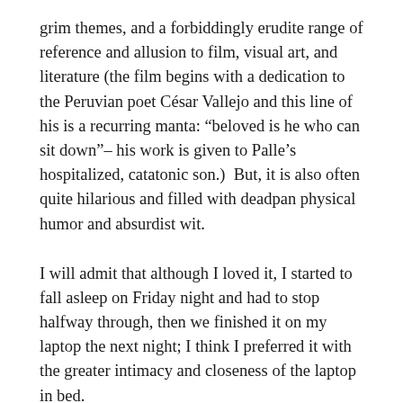grim themes, and a forbiddingly erudite range of reference and allusion to film, visual art, and literature (the film begins with a dedication to the Peruvian poet César Vallejo and this line of his is a recurring manta: “beloved is he who can sit down”– his work is given to Palle’s hospitalized, catatonic son.)  But, it is also often quite hilarious and filled with deadpan physical humor and absurdist wit.
I will admit that although I loved it, I started to fall asleep on Friday night and had to stop halfway through, then we finished it on my laptop the next night; I think I preferred it with the greater intimacy and closeness of the laptop in bed.